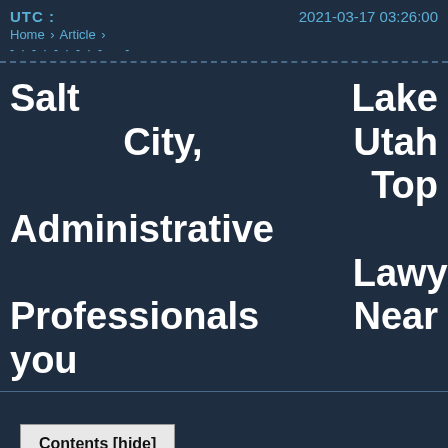UTC : 2021-03-17 03:26:00 Home › Article ›
Salt Lake City, Utah Top Administrative Lawyer Professionals Near you
Contents [hide]